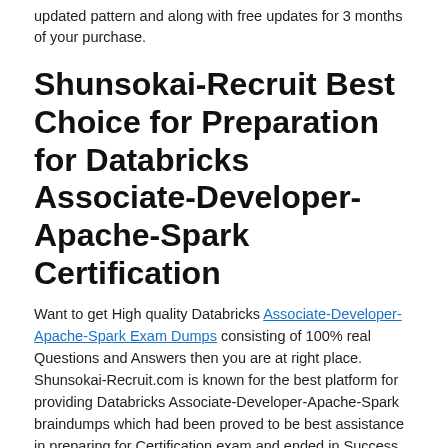updated pattern and along with free updates for 3 months of your purchase.
Shunsokai-Recruit Best Choice for Preparation for Databricks Associate-Developer-Apache-Spark Certification
Want to get High quality Databricks Associate-Developer-Apache-Spark Exam Dumps consisting of 100% real Questions and Answers then you are at right place. Shunsokai-Recruit.com is known for the best platform for providing Databricks Associate-Developer-Apache-Spark braindumps which had been proved to be best assistance in preparing for Certification exam and ended in Success by getting desired Results.
Databricks Associate-Developer-Apache-Spark Trustworthy Practice We highly recommend that you try "demo" of every product that we provide "free of cost" so that you always remain sure of what you are buying. Databricks Associate-Developer-